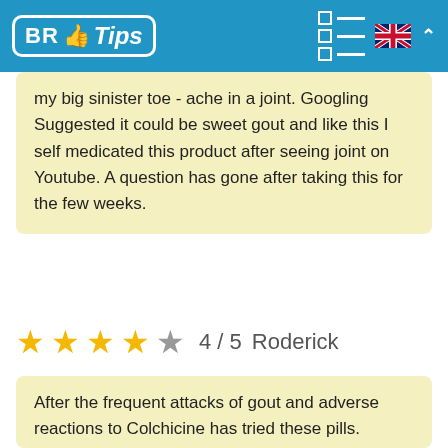BR Tips
my big sinister toe - ache in a joint. Googling Suggested it could be sweet gout and like this I self medicated this product after seeing joint on Youtube. A question has gone after taking this for the few weeks.
4 / 5  Roderick
After the frequent attacks of gout and adverse reactions to Colchicine has tried these pills.
Is now be 10 months and a lot of gout.
Other products have not done for me but these